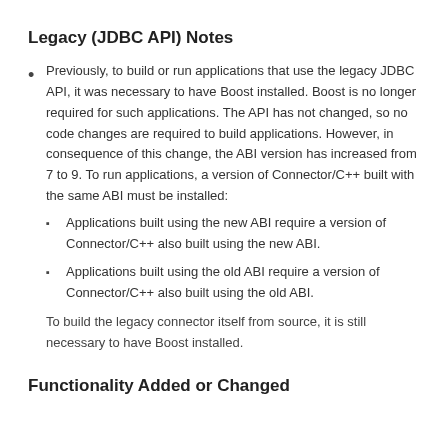Legacy (JDBC API) Notes
Previously, to build or run applications that use the legacy JDBC API, it was necessary to have Boost installed. Boost is no longer required for such applications. The API has not changed, so no code changes are required to build applications. However, in consequence of this change, the ABI version has increased from 7 to 9. To run applications, a version of Connector/C++ built with the same ABI must be installed:
Applications built using the new ABI require a version of Connector/C++ also built using the new ABI.
Applications built using the old ABI require a version of Connector/C++ also built using the old ABI.
To build the legacy connector itself from source, it is still necessary to have Boost installed.
Functionality Added or Changed